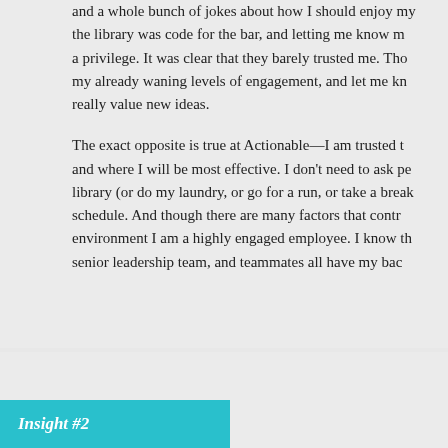and a whole bunch of jokes about how I should enjoy my the library was code for the bar, and letting me know m a privilege. It was clear that they barely trusted me. Tho my already waning levels of engagement, and let me kn really value new ideas.
The exact opposite is true at Actionable—I am trusted t and where I will be most effective. I don't need to ask pe library (or do my laundry, or go for a run, or take a break schedule. And though there are many factors that contr environment I am a highly engaged employee. I know th senior leadership team, and teammates all have my bac
Insight #2